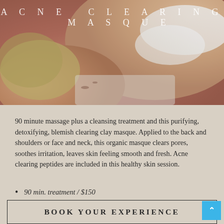[Figure (photo): Woman receiving a spa back treatment with white clay masque applied to her back and shoulders, lying down with eyes closed, warm skin tones]
Acne Clearing Masque
90 minute massage plus a cleansing treatment and this purifying, detoxifying, blemish clearing clay masque. Applied to the back and shoulders or face and neck, this organic masque clears pores, soothes irritation, leaves skin feeling smooth and fresh. Acne clearing peptides are included in this healthy skin session.
90 min. treatment / $150
BOOK YOUR EXPERIENCE